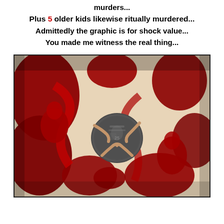murders...
Plus 5 older kids likewise ritually murdered...
Admittedly the graphic is for shock value...
You made me witness the real thing...
[Figure (photo): Close-up photo of red clay or resin figurines of small human-shaped forms covered in red liquid (resembling blood), with a coin (quarter) in the center for scale. The figurines appear to be fetal or infant-shaped forms arranged around the coin on a light-colored surface.]